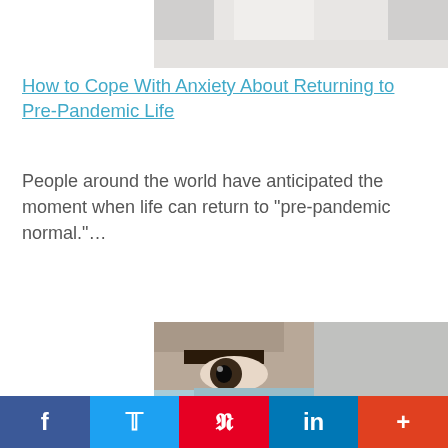[Figure (photo): Partial view of person in white shirt, top portion cropped]
How to Cope With Anxiety About Returning to Pre-Pandemic Life
People around the world have anticipated the moment when life can return to “pre-pandemic normal.”…
[Figure (photo): Close-up of person wearing a light blue surgical face mask, only eye and upper face visible]
How to Handle Your Re-Entry Anxiety as the Pandemic
f  t  P  in  +